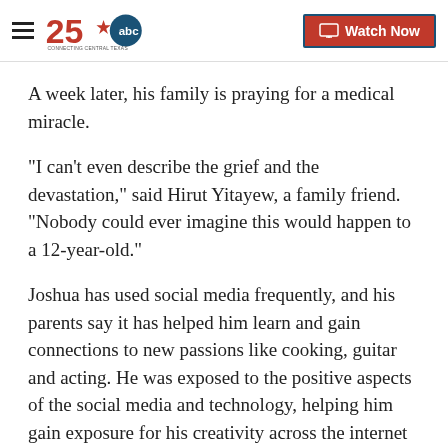25 ABC Connecting Central Texas | Watch Now
A week later, his family is praying for a medical miracle.
"I can't even describe the grief and the devastation," said Hirut Yitayew, a family friend. "Nobody could ever imagine this would happen to a 12-year-old."
Joshua has used social media frequently, and his parents say it has helped him learn and gain connections to new passions like cooking, guitar and acting. He was exposed to the positive aspects of the social media and technology, helping him gain exposure for his creativity across the internet